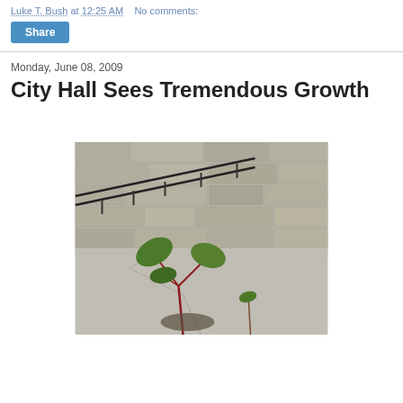Luke T. Bush at 12:25 AM   No comments:
Share
Monday, June 08, 2009
City Hall Sees Tremendous Growth
[Figure (photo): A small plant seedling with red stems and green leaves growing up through cracked concrete pavement, with a stone building wall and metal railing visible in the background.]